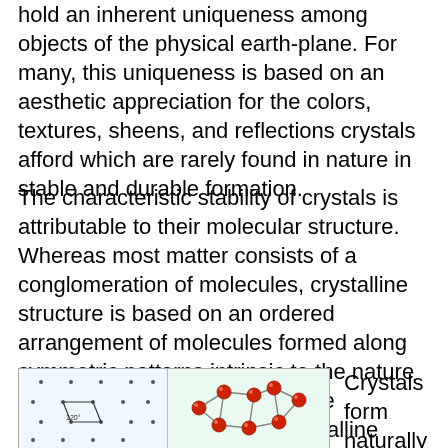hold an inherent uniqueness among objects of the physical earth-plane. For many, this uniqueness is based on an aesthetic appreciation for the colors, textures, sheens, and reflections crystals afford which are rarely found in nature in stable and durable formation.
The characteristic stability of crystals is attributable to their molecular structure. Whereas most matter consists of a conglomeration of molecules, crystalline structure is based on an ordered arrangement of molecules formed along symmetric patterns intrinsic to the nature of the constituent particles of the molecule. This means that crystalline structure is based on a repeating pattern, or unit cell, which defines the symmetry and structure of the entire crystal structure, called a lattice.
[Figure (illustration): Two-panel illustration of crystal structure. Left panel shows a dot-lattice diagram with a rhombus-shaped unit cell outlined (labeled 120 degrees). Right panel shows a molecular model of a crystalline structure with red spheres (atoms) connected by bonds, forming a ring-like pattern.]
Crystals form naturally